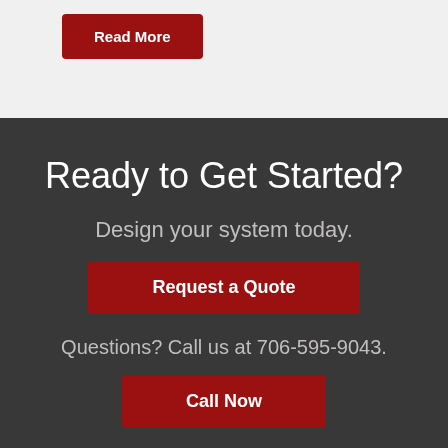Read More
Ready to Get Started?
Design your system today.
Request a Quote
Questions? Call us at 706-595-9043.
Call Now